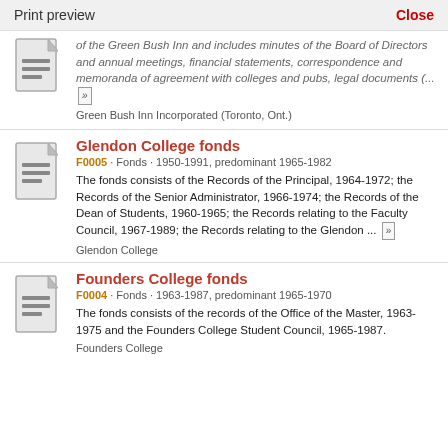Print preview   Close
of the Green Bush Inn and includes minutes of the Board of Directors and annual meetings, financial statements, correspondence and memoranda of agreement with colleges and pubs, legal documents (...
Green Bush Inn Incorporated (Toronto, Ont.)
Glendon College fonds
F0005 · Fonds · 1950-1991, predominant 1965-1982
The fonds consists of the Records of the Principal, 1964-1972; the Records of the Senior Administrator, 1966-1974; the Records of the Dean of Students, 1960-1965; the Records relating to the Faculty Council, 1967-1989; the Records relating to the Glendon ...
Glendon College
Founders College fonds
F0004 · Fonds · 1963-1987, predominant 1965-1970
The fonds consists of the records of the Office of the Master, 1963-1975 and the Founders College Student Council, 1965-1987.
Founders College